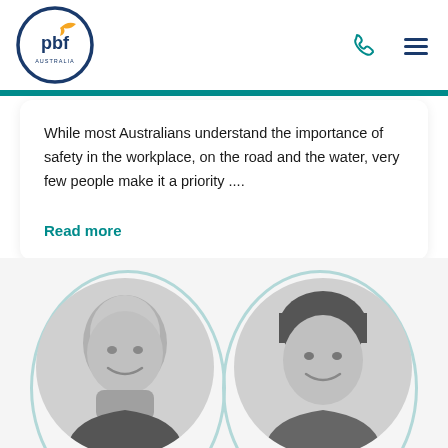[Figure (logo): PBF Australia logo — circular logo with 'pbf' text and stylized bird/checkmark in yellow, navy blue circle border, 'AUSTRALIA' text below]
While most Australians understand the importance of safety in the workplace, on the road and the water, very few people make it a priority ....
Read more
[Figure (photo): Two black-and-white headshot photos of men, framed in light teal oval shapes on a light grey background. Left: bald man smiling. Right: man with dark hair smiling.]